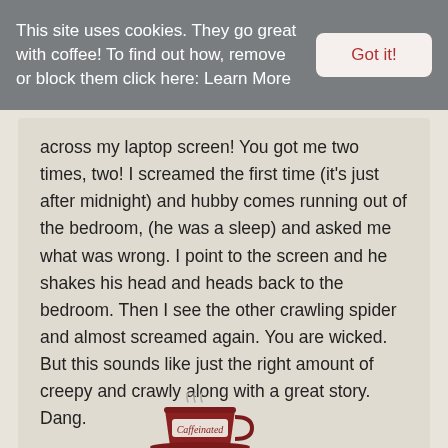This site uses cookies. They go great with coffee! To find out how, remove or block them click here: Learn More | Got it!
across my laptop screen! You got me two times, two! I screamed the first time (it's just after midnight) and hubby comes running out of the bedroom, (he was a sleep) and asked me what was wrong. I point to the screen and he shakes his head and heads back to the bedroom. Then I see the other crawling spider and almost screamed again. You are wicked. But this sounds like just the right amount of creepy and crawly along with a great story. Dang.
[Figure (logo): Caffeinated coffee cup logo at the bottom of the page]